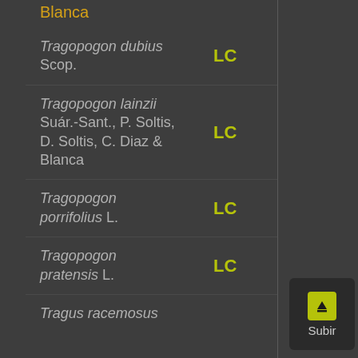Blanca
Tragopogon dubius Scop. — LC
Tragopogon lainzii Suár.-Sant., P. Soltis, D. Soltis, C. Diaz & Blanca — LC
Tragopogon porrifolius L. — LC
Tragopogon pratensis L. — LC
Tragus racemosus